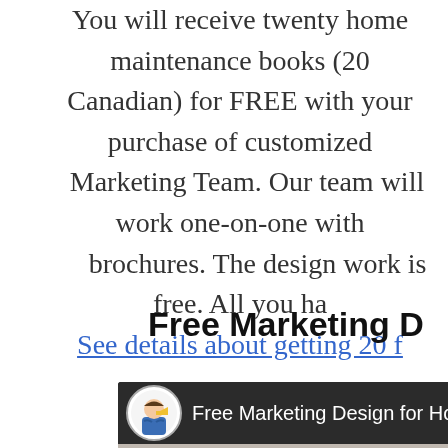You will receive twenty home maintenance books (20 Canadian) for FREE with your purchase of customized Marketing Team. Our team will work one-on-one with brochures. The design work is free. All you ha See details about getting 20 f
Free Marketing D
[Figure (screenshot): Video player screenshot showing 'Free Marketing Design for Home I' with a cartoon character avatar icon (man with megaphone) on dark background header bar, and a partially visible video content area below.]